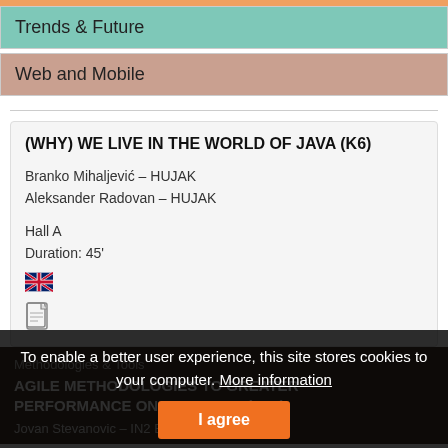Trends & Future
Web and Mobile
(WHY) WE LIVE IN THE WORLD OF JAVA (K6)
Branko Mihaljević – HUJAK
Aleksander Radovan – HUJAK
Hall A
Duration: 45'
[Figure (illustration): UK flag icon]
[Figure (illustration): Document icon]
Methodologies & Tools
AGILE METHODOLOGIES TO GREATER PERFORMANCE ON PROJECTS (D10)
Jovan Stevanovic - IN2 Beograd
To enable a better user experience, this site stores cookies to your computer. More information
I agree